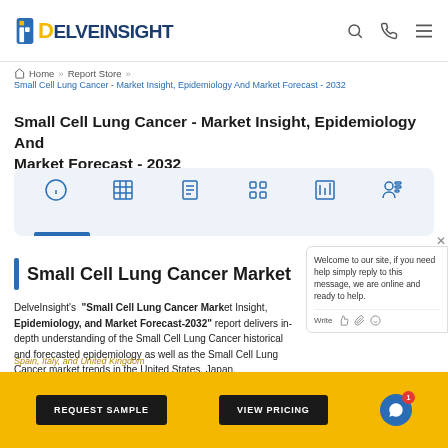[Figure (logo): DelveInsight logo with blue stylized 'i' icon and bold text]
Home » Report Store »
Small Cell Lung Cancer - Market Insight, Epidemiology And Market Forecast - 2032
Small Cell Lung Cancer - Market Insight, Epidemiology And Market Forecast - 2032
[Figure (infographic): Icon navigation bar with 6 icons: info, table/grid, list, data/dots, chart/report, person/profile. Active underline below first icon.]
Small Cell Lung Cancer Market
DelveInsight's "Small Cell Lung Cancer Market Insight, Epidemiology, and Market Forecast-2032" report delivers in-depth understanding of the Small Cell Lung Cancer historical and forecasted epidemiology as well as the Small Cell Lung Cancer market trends in the United States, Japan, Germany, France, Spain, Italy, and United Kingdom
The Small Cell Lung Cancer market report also provides current treatment practices...